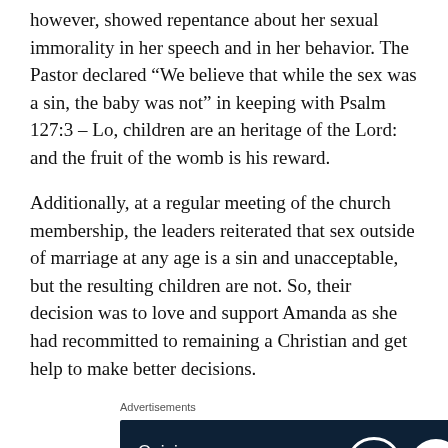however, showed repentance about her sexual immorality in her speech and in her behavior. The Pastor declared “We believe that while the sex was a sin, the baby was not” in keeping with Psalm 127:3 – Lo, children are an heritage of the Lord: and the fruit of the womb is his reward.
Additionally, at a regular meeting of the church membership, the leaders reiterated that sex outside of marriage at any age is a sin and unacceptable, but the resulting children are not. So, their decision was to love and support Amanda as she had recommitted to remaining a Christian and get help to make better decisions.
[Figure (other): Advertisement banner with dark navy background. Left side shows text: 'Opinions.' and 'We all have them!' in white. Right side shows WordPress 'W' logo in a white circle and a blue circle logo.]
This gracious treatment of Amanda was peculiar because